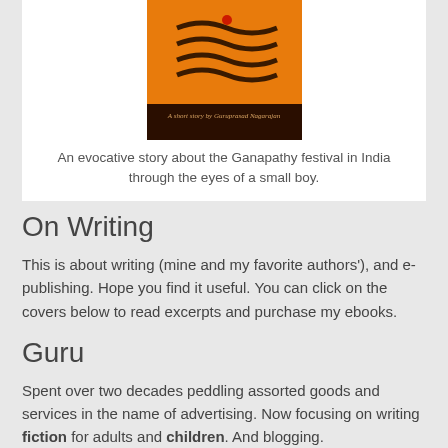[Figure (illustration): Orange book cover with dark decorative lines and a red dot, with text 'A short story by Guruprasad Nagarajan' on a dark band at the bottom]
An evocative story about the Ganapathy festival in India through the eyes of a small boy.
On Writing
This is about writing (mine and my favorite authors'), and e-publishing. Hope you find it useful. You can click on the covers below to read excerpts and purchase my ebooks.
Guru
Spent over two decades peddling assorted goods and services in the name of advertising. Now focusing on writing fiction for adults and children. And blogging.
Archives
April 2022